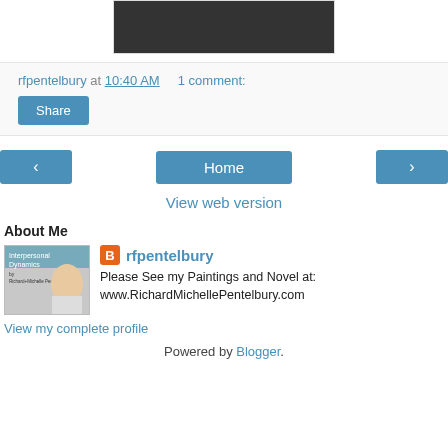[Figure (photo): Cropped photo of people at top of page]
rfpentelbury at 10:40 AM   1 comment:
Share
< Home >
View web version
About Me
[Figure (photo): Thumbnail photo of author with book cover 'Interpersonal Dynamics by Richard Michelle Pentelbury']
rfpentelbury
Please See my Paintings and Novel at: www.RichardMichellePentelbury.com
View my complete profile
Powered by Blogger.